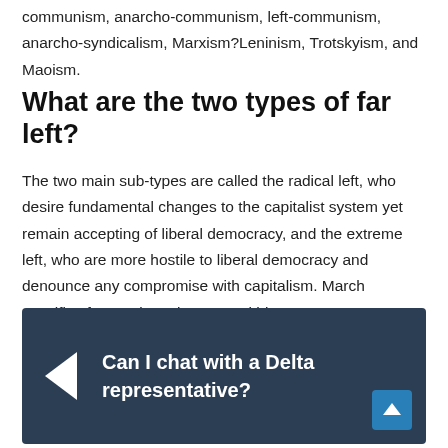communism, anarcho-communism, left-communism, anarcho-syndicalism, Marxism?Leninism, Trotskyism, and Maoism.
What are the two types of far left?
The two main sub-types are called the radical left, who desire fundamental changes to the capitalist system yet remain accepting of liberal democracy, and the extreme left, who are more hostile to liberal democracy and denounce any compromise with capitalism. March specifies four major subgroups within contemporary European far-left politics:?
[Figure (other): Dark navy banner with a left-pointing triangle/arrow icon on the left and bold white text reading 'Can I chat with a Delta representative?' with a blue scroll-to-top button in the bottom right corner.]